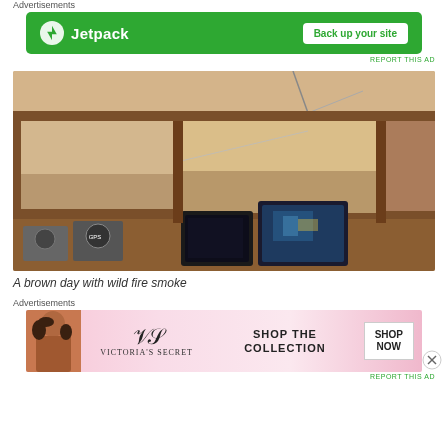Advertisements
[Figure (screenshot): Jetpack advertisement banner with green background showing Jetpack logo and 'Back up your site' button]
REPORT THIS AD
[Figure (photo): View from a boat's helm/cockpit showing navigation screens, instruments, and ocean view through windows with brown hazy sky from wildfire smoke]
A brown day with wild fire smoke
Advertisements
[Figure (screenshot): Victoria's Secret advertisement showing model with VS logo, 'SHOP THE COLLECTION' text and 'SHOP NOW' button on pink background]